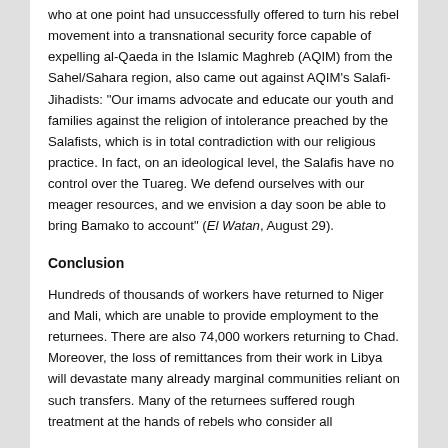who at one point had unsuccessfully offered to turn his rebel movement into a transnational security force capable of expelling al-Qaeda in the Islamic Maghreb (AQIM) from the Sahel/Sahara region, also came out against AQIM's Salafi-Jihadists: "Our imams advocate and educate our youth and families against the religion of intolerance preached by the Salafists, which is in total contradiction with our religious practice. In fact, on an ideological level, the Salafis have no control over the Tuareg. We defend ourselves with our meager resources, and we envision a day soon be able to bring Bamako to account" (El Watan, August 29).
Conclusion
Hundreds of thousands of workers have returned to Niger and Mali, which are unable to provide employment to the returnees. There are also 74,000 workers returning to Chad. Moreover, the loss of remittances from their work in Libya will devastate many already marginal communities reliant on such transfers. Many of the returnees suffered rough treatment at the hands of rebels who consider all